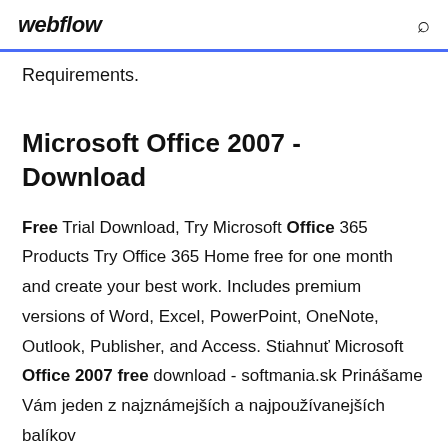webflow
Requirements.
Microsoft Office 2007 - Download
Free Trial Download, Try Microsoft Office 365 Products Try Office 365 Home free for one month and create your best work. Includes premium versions of Word, Excel, PowerPoint, OneNote, Outlook, Publisher, and Access. Stiahnuť Microsoft Office 2007 free download - softmania.sk Prinášame Vám jeden z najznámejších a najpouž ívanejších balíkov kancelárskych programov světa, ktorý